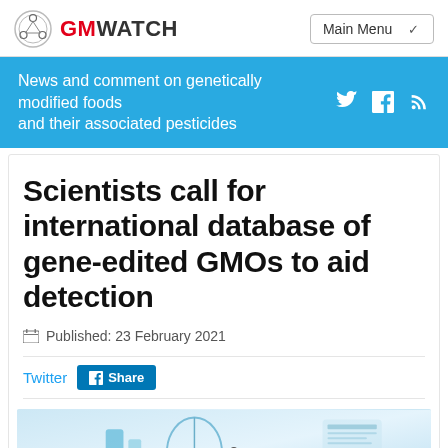GMWATCH — Main Menu
News and comment on genetically modified foods and their associated pesticides
Scientists call for international database of gene-edited GMOs to aid detection
Published: 23 February 2021
Twitter | Share
[Figure (photo): Laboratory equipment, microscope or pipette in a science setting with blue/teal background]